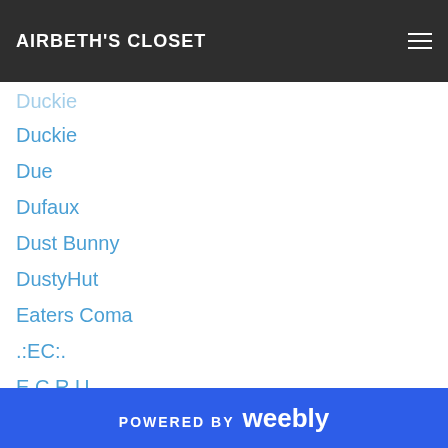AIRBETH'S CLOSET
Duckie
Due
Dufaux
Dust Bunny
DustyHut
Eaters Coma
.:EC:.
E C R U
*E.D.*
Edelstor
Ego
Egoisme
Egozy
Elemental
Elephante Poses
POWERED BY weebly